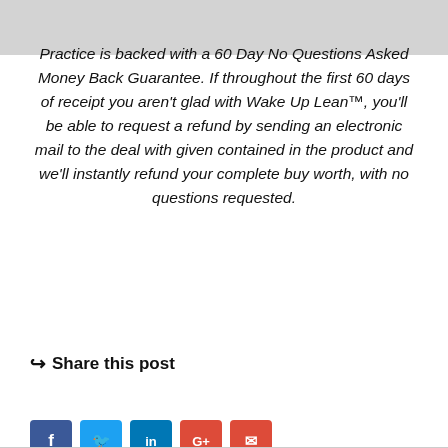Practice is backed with a 60 Day No Questions Asked Money Back Guarantee. If throughout the first 60 days of receipt you aren't glad with Wake Up Lean™, you'll be able to request a refund by sending an electronic mail to the deal with given contained in the product and we'll instantly refund your complete buy worth, with no questions requested.
Share this post